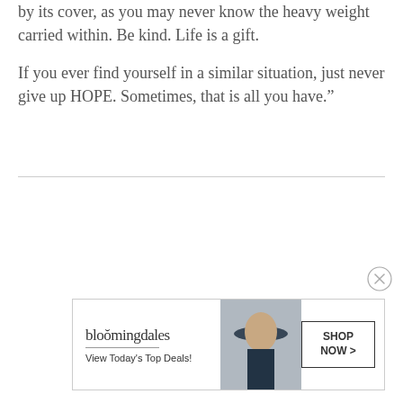by its cover, as you may never know the heavy weight carried within. Be kind. Life is a gift.
If you ever find yourself in a similar situation, just never give up HOPE. Sometimes, that is all you have.”
[Figure (other): Bloomingdale's advertisement banner with woman in navy hat. Text: bloomingdales, View Today's Top Deals!, SHOP NOW >]